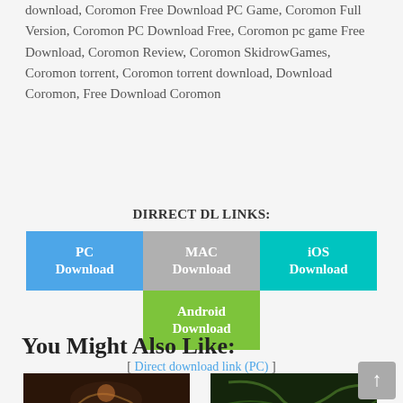download, Coromon Free Download PC Game, Coromon Full Version, Coromon PC Download Free, Coromon pc game Free Download, Coromon Review, Coromon SkidrowGames, Coromon torrent, Coromon torrent download, Download Coromon, Free Download Coromon
DIRRECT DL LINKS:
[Figure (infographic): Four download buttons: PC Download (blue), MAC Download (gray), iOS Download (teal), Android Download (green)]
[ Direct download link (PC) ]
You Might Also Like:
[Figure (photo): Dark game thumbnail image on left]
[Figure (photo): Dark green game thumbnail image on right]